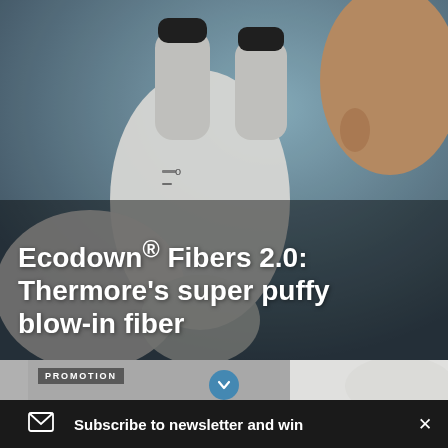[Figure (photo): Close-up of a person in a white lab coat or protective clothing looking through a microscope, with a blurred bluish-grey laboratory background.]
Ecodown® Fibers 2.0: Thermore's super puffy blow-in fiber
[Figure (photo): Partial view of a second article thumbnail showing a white fabric or material, with a PROMOTION label overlay and a blue chevron/down arrow button.]
PROMOTION
Subscribe to newsletter and win